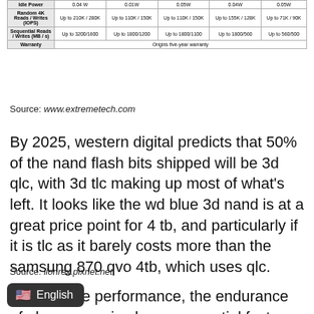|  | Col1 | Col2 | Col3 | Col4 | Col5 |
| --- | --- | --- | --- | --- | --- |
| Idle Power | 0.04 W | 0.01W | 0.05W | 0.04W | 0.05W |
| Random 4K Reads / Writes (IOPS) | Up to 210K / 280K | Up to 110K / 150K | Up to 110K / 150K | Up to 155K / 128K | Up to 71K / 90K |
| Sequential Reads / Writes (MB/s) | Up to 3200/1600 | Up to 1800/1200 | Up to 1800/1100 | Up to 1800/560 | Up to 560/500 |
| Warranty | Origins five-year warranty |  |  |  |  |
Source: www.extremetech.com
By 2025, western digital predicts that 50% of the nand flash bits shipped will be 3d qlc, with 3d tlc making up most of what’s left. It looks like the wd blue 3d nand is at a great price point for 4 tb, and particularly if it is tlc as it barely costs more than the samsung 870 qvo 4tb, which uses qlc.
Source: lionrex.pixnet.net
Besides the performance, the endurance of qlc is also an essential factor. 3d na— lot of reliability issues with